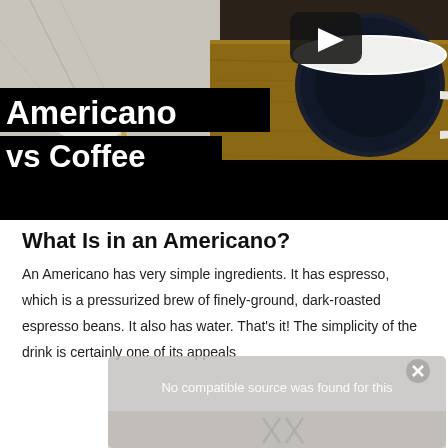[Figure (screenshot): Video thumbnail showing coffee cups on a wooden tray with marble background, a YouTube-style play button in the upper right, and bold white text on black bars reading 'Americano vs Coffee'. Lower portion is a black bar.]
What Is in an Americano?
An Americano has very simple ingredients. It has espresso, which is a pressurized brew of finely-ground, dark-roasted espresso beans. It also has water. That's it! The simplicity of the drink is certainly one of its appeals
[Figure (screenshot): Media error overlay: 'No compatible source was found for this' with partial video player controls and an X button visible.]